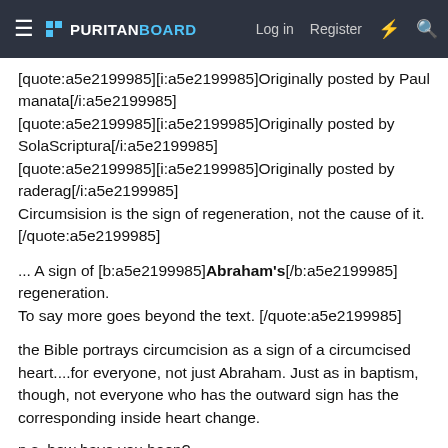≡ PURITANBOARD  Log in  Register
[quote:a5e2199985][i:a5e2199985]Originally posted by Paul manata[/i:a5e2199985]
[quote:a5e2199985][i:a5e2199985]Originally posted by SolaScriptura[/i:a5e2199985]
[quote:a5e2199985][i:a5e2199985]Originally posted by raderag[/i:a5e2199985]
Circumsision is the sign of regeneration, not the cause of it.
[/quote:a5e2199985]
... A sign of [b:a5e2199985]Abraham's[/b:a5e2199985] regeneration.
To say more goes beyond the text. [/quote:a5e2199985]
the Bible portrays circumcision as a sign of a circumcised heart....for everyone, not just Abraham. Just as in baptism, though, not everyone who has the outward sign has the corresponding inside heart change.
p.s. how have you been?